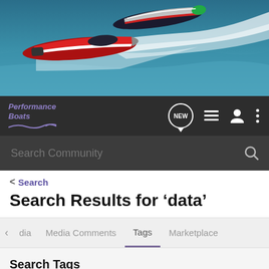[Figure (photo): Two red and white speedboats racing on blue water with white spray, seen from above/side angle.]
[Figure (logo): Performance Boats logo with wave graphic in purple/mauve color, white text on dark navbar background.]
Search Community
< Search
Search Results for ‘data’
dia   Media Comments   Tags   Marketplace
Search Tags
× data